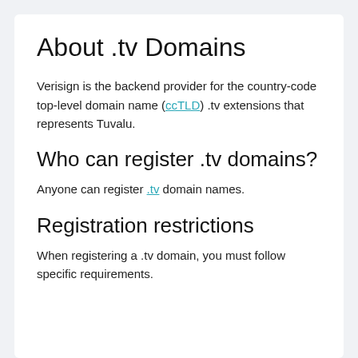About .tv Domains
Verisign is the backend provider for the country-code top-level domain name (ccTLD) .tv extensions that represents Tuvalu.
Who can register .tv domains?
Anyone can register .tv domain names.
Registration restrictions
When registering a .tv domain, you must follow specific requirements.